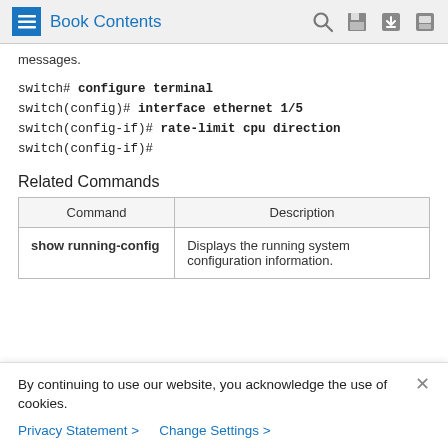Book Contents
messages.
switch# configure terminal
switch(config)# interface ethernet 1/5
switch(config-if)# rate-limit cpu direction
switch(config-if)#
Related Commands
| Command | Description |
| --- | --- |
| show running-config | Displays the running system configuration information. |
By continuing to use our website, you acknowledge the use of cookies.
Privacy Statement > Change Settings >